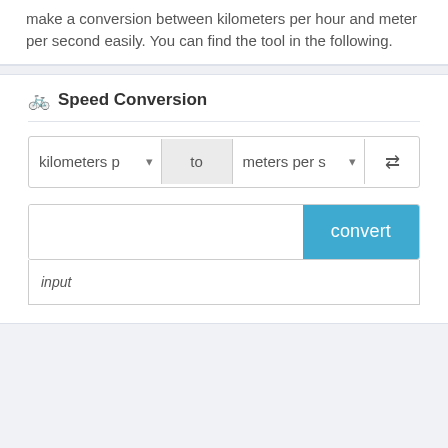make a conversion between kilometers per hour and meter per second easily. You can find the tool in the following.
🚲 Speed Conversion
[Figure (screenshot): Speed conversion widget UI showing a dropdown selector with 'kilometers p' on the left, a 'to' label in the middle, 'meters per s' dropdown on the right, a swap button (⇄), an input field with a blue 'convert' button, and an 'input' result area below.]